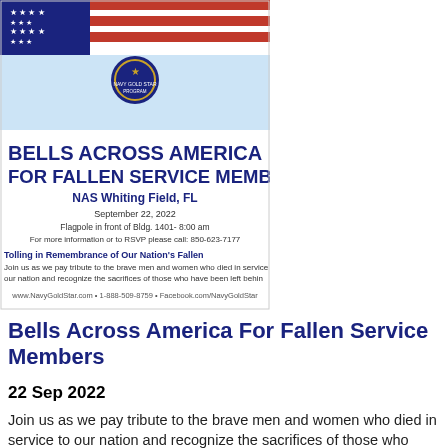[Figure (infographic): Event flyer for 'Bells Across America For Fallen Service Members' at NAS Whiting Field, FL. Features American flag background, Navy Gold Star Program logo, bold event title, date September 22, 2022, location Flagpole in front of Bldg. 1401 at 8:00 am, RSVP number 850-623-7177, text about tolling in remembrance, and website/social media links.]
Bells Across America For Fallen Service Members
22 Sep 2022
Join us as we pay tribute to the brave men and women who died in service to our nation and recognize the sacrifices of those who have been left behind. #NavyMutual #NavyGoldStar...